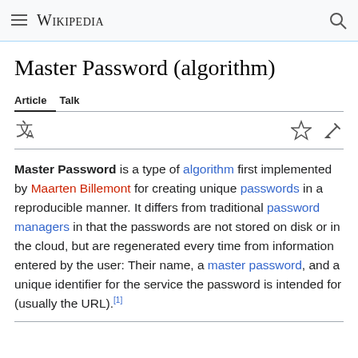Wikipedia
Master Password (algorithm)
Article  Talk
Master Password is a type of algorithm first implemented by Maarten Billemont for creating unique passwords in a reproducible manner. It differs from traditional password managers in that the passwords are not stored on disk or in the cloud, but are regenerated every time from information entered by the user: Their name, a master password, and a unique identifier for the service the password is intended for (usually the URL).[1]